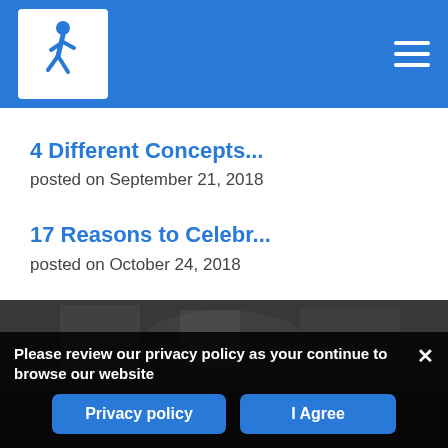Navigation bar with walking figure logo and hamburger menu
4 Different Concepts...
posted on September 21, 2018
17 Reasons to Celebr...
posted on October 24, 2018
[Figure (photo): Workers wearing yellow hard hats]
7 Important Things Y...
posted on March 5, 2018
Please review our privacy policy as your continue to browse our website  Privacy policy   I Agree